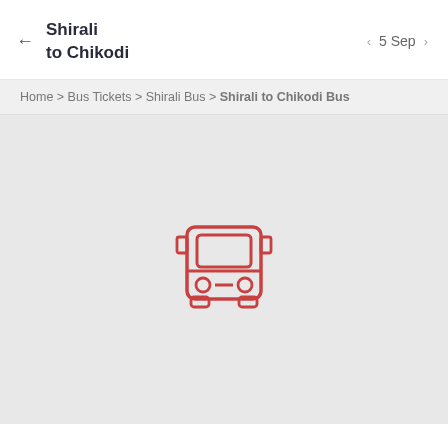Shirali to Chikodi
Home > Bus Tickets > Shirali Bus > Shirali to Chikodi Bus
[Figure (illustration): Front-view bus icon in red/pink outline style, centered on a light gray background]